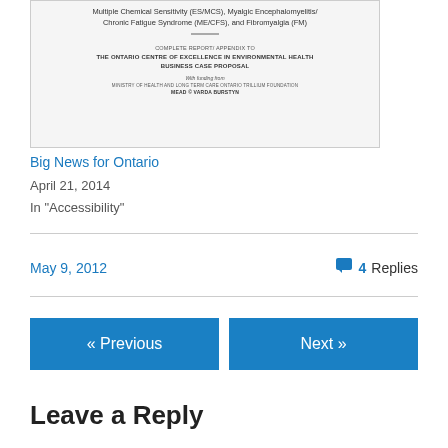[Figure (screenshot): Thumbnail of a report cover page for Ontario Centre of Excellence in Environmental Health, showing title about Multiple Chemical Sensitivity (ES/MCS), Myalgic Encephalomyelitis/Chronic Fatigue Syndrome (ME/CFS), and Fibromyalgia (FM). Contains text: COMPLETE REPORT/APPENDIX TO THE ONTARIO CENTRE OF EXCELLENCE IN ENVIRONMENTAL HEALTH BUSINESS CASE PROPOSAL. With funding from MINISTRY OF HEALTH AND LONG TERM CARE ONTARIO TRILLIUM FOUNDATION. MEAD © VARDA BURSTYN]
Big News for Ontario
April 21, 2014
In "Accessibility"
May 9, 2012
4 Replies
« Previous
Next »
Leave a Reply